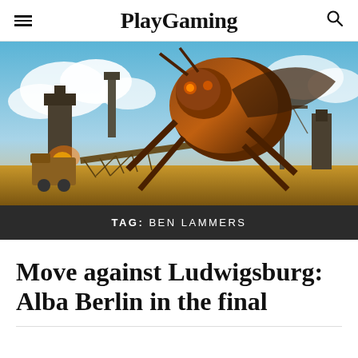PlayGaming
[Figure (illustration): Game artwork showing a large mechanical insect/robot creature towering over a post-apocalyptic industrial cityscape with cranes and buildings under a cloudy sky]
TAG:  BEN LAMMERS
Move against Ludwigsburg: Alba Berlin in the final